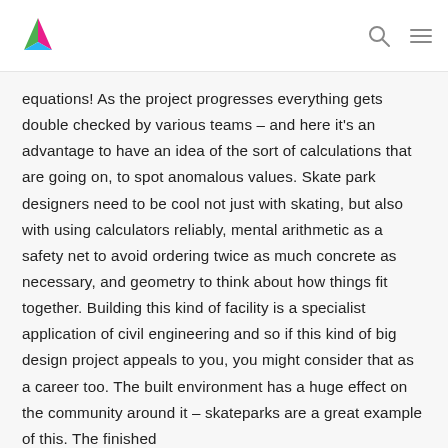Amplify logo, search icon, menu icon
equations! As the project progresses everything gets double checked by various teams – and here it's an advantage to have an idea of the sort of calculations that are going on, to spot anomalous values. Skate park designers need to be cool not just with skating, but also with using calculators reliably, mental arithmetic as a safety net to avoid ordering twice as much concrete as necessary, and geometry to think about how things fit together. Building this kind of facility is a specialist application of civil engineering and so if this kind of big design project appeals to you, you might consider that as a career too. The built environment has a huge effect on the community around it – skateparks are a great example of this. The finished